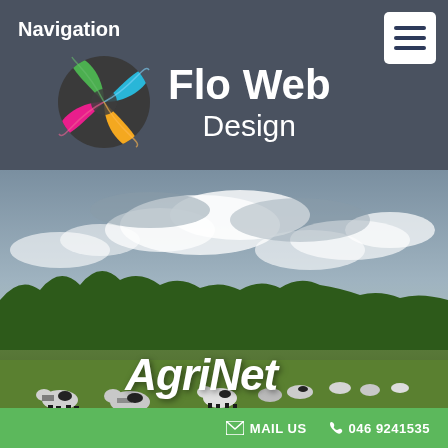Navigation
[Figure (logo): Flo Web Design logo with colorful circular icon (green, magenta, cyan, orange leaf segments) and white text 'Flo Web Design' on dark grey background]
[Figure (photo): Farm field photograph showing black and white dairy cows grazing on green grass with trees in the background and a cloudy grey-blue sky]
AgriNet
MAIL US   046 9241535